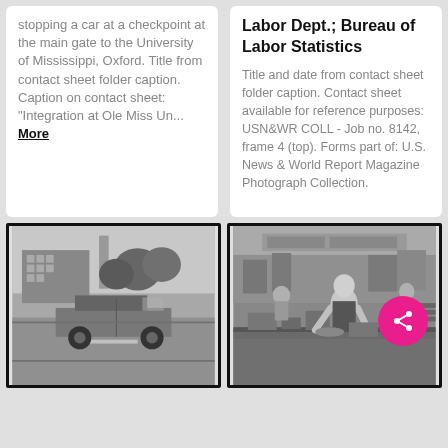stopping a car at a checkpoint at the main gate to the University of Mississippi, Oxford. Title from contact sheet folder caption. Caption on contact sheet: "Integration at Ole Miss Un... More
Labor Dept.; Bureau of Labor Statistics
Title and date from contact sheet folder caption. Contact sheet available for reference purposes: USN&WR COLL - Job no. 8142, frame 4 (top). Forms part of: U.S. News & World Report Magazine Photograph Collection.
[Figure (photo): Black and white photograph of a car stopped at a checkpoint on a road near the University of Mississippi, with trees and a building in the background.]
[Figure (photo): Black and white photograph of a factory/workshop interior with workers at tables, one worker in the foreground working on something, industrial equipment visible in the background.]